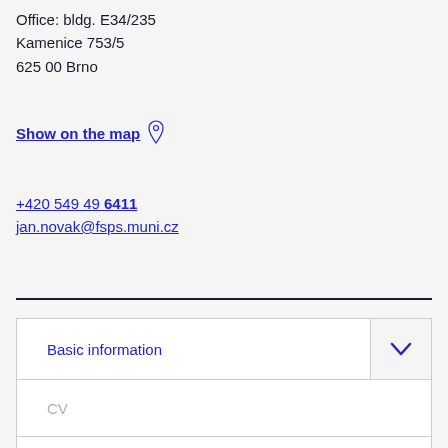Office: bldg. E34/235
Kamenice 753/5
625 00 Brno
Show on the map
+420 549 49 6411
jan.novak@fsps.muni.cz
| Basic information |  |
| CV |  |
| Supervision |  |